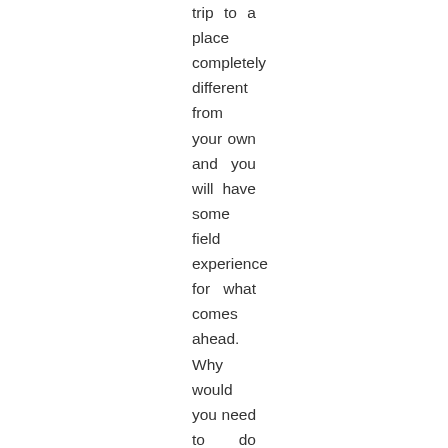trip to a place completely different from your own and you will have some field experience for what comes ahead. Why would you need to do that? Well for starters you will learn more about how your partner handles stress, foreign languages and how they cope with feeling lost and disconnected from what is familiar. Apart from seeing new sides of the one you live, you will be able to understand your own strengths as well as your limitations when you are living in a foreign location.
Avoid making a strict timeline
There a have been plenty of couples that go overseas with the idea of having fun, saving up some cash working there and coming back home. Most often this